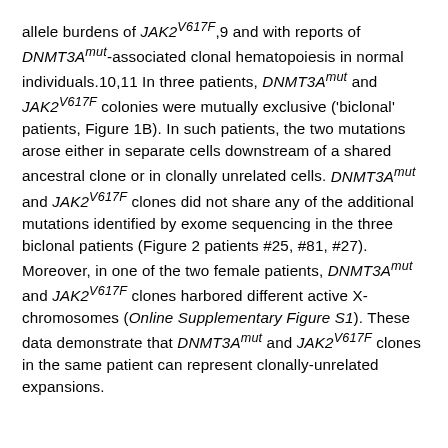allele burdens of JAK2V617F,9 and with reports of DNMT3Amut-associated clonal hematopoiesis in normal individuals.10,11 In three patients, DNMT3Amut and JAK2V617F colonies were mutually exclusive ('biclonal' patients, Figure 1B). In such patients, the two mutations arose either in separate cells downstream of a shared ancestral clone or in clonally unrelated cells. DNMT3Amut and JAK2V617F clones did not share any of the additional mutations identified by exome sequencing in the three biclonal patients (Figure 2 patients #25, #81, #27). Moreover, in one of the two female patients, DNMT3Amut and JAK2V617F clones harbored different active X-chromosomes (Online Supplementary Figure S1). These data demonstrate that DNMT3Amut and JAK2V617F clones in the same patient can represent clonally-unrelated expansions.